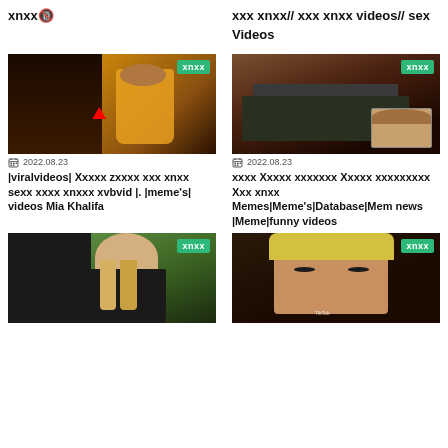xnxx🔞
xxx xnxx// xxx xnxx videos// sex Videos
[Figure (screenshot): Video thumbnail showing a person in yellow outfit, dark background, with xnxx badge]
2022.08.23
|viralvideos| Xxxxx zxxxx xxx xnxx sexx xxxx xnxxx xvbvid |. |meme's| videos Mia Khalifa
[Figure (screenshot): Video thumbnail showing person's midsection, dark clothing, with small portrait inset, xnxx badge]
2022.08.23
xxxx Xxxxx xxxxxxx Xxxxx xxxxxxxxx Xxx xnxx Memes|Meme's|Database|Mem news |Meme|funny videos
[Figure (screenshot): Video thumbnail showing person with blonde hair from behind, dark outfit, xnxx badge]
[Figure (screenshot): Video thumbnail showing woman's face with blonde hair, TikTok watermark, xnxx badge]